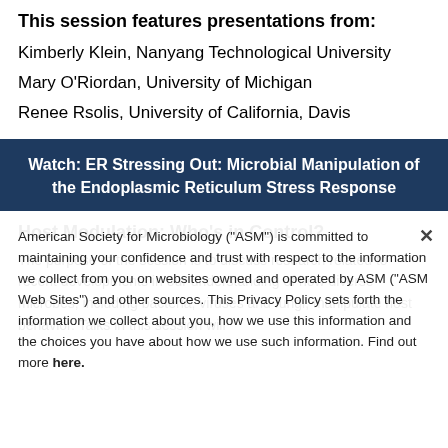This session features presentations from:
Kimberly Klein, Nanyang Technological University
Mary O'Riordan, University of Michigan
Renee Rsolis, University of California, Davis
Watch: ER Stressing Out: Microbial Manipulation of the Endoplasmic Reticulum Stress Response
American Society for Microbiology ("ASM") is committed to maintaining your confidence and trust with respect to the information we collect from you on websites owned and operated by ASM ("ASM Web Sites") and other sources. This Privacy Policy sets forth the information we collect about you, how we use this information and the choices you have about how we use such information. Find out more here.
Host Modulation: Who's in Control?
The purpose of the session is to discuss research related to recent developments in our understanding of how diverse microbes, including bacteria, viruses and fungi, manipulate host behavior. Talks in this session will